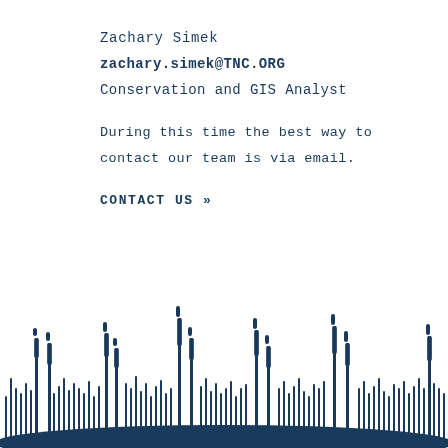Zachary Simek
zachary.simek@TNC.ORG
Conservation and GIS Analyst
During this time the best way to contact our team is via email.
CONTACT US »
[Figure (illustration): Decorative marsh/wetland silhouette illustration with cattails and grass along the bottom of the page in dark teal/navy color.]